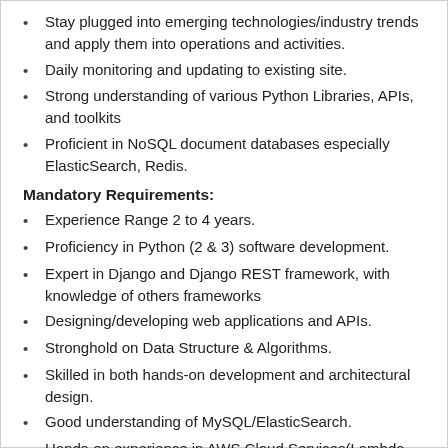Stay plugged into emerging technologies/industry trends and apply them into operations and activities.
Daily monitoring and updating to existing site.
Strong understanding of various Python Libraries, APIs, and toolkits
Proficient in NoSQL document databases especially ElasticSearch, Redis.
Mandatory Requirements:
Experience Range 2 to 4 years.
Proficiency in Python (2 & 3) software development.
Expert in Django and Django REST framework, with knowledge of others frameworks
Designing/developing web applications and APIs.
Stronghold on Data Structure & Algorithms.
Skilled in both hands-on development and architectural design.
Good understanding of MySQL/ElasticSearch.
Hands-on experience in AWS Cloud Services(Lambda, SES, S3, RDS, ElasticSearch, EC2 etc.)
Salary: INR 12,00,000 Per Annum